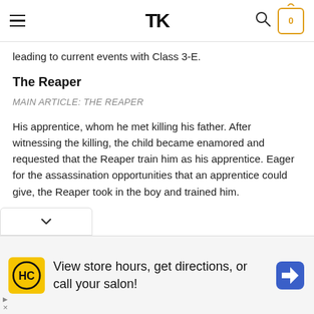TK [logo] | hamburger menu | search | cart (0)
leading to current events with Class 3-E.
The Reaper
MAIN ARTICLE: THE REAPER
His apprentice, whom he met killing his father. After witnessing the killing, the child became enamored and requested that the Reaper train him as his apprentice. Eager for the assassination opportunities that an apprentice could give, the Reaper took in the boy and trained him.
View store hours, get directions, or call your salon!